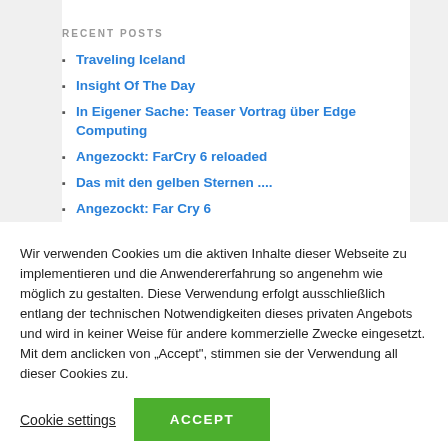RECENT POSTS
Traveling Iceland
Insight Of The Day
In Eigener Sache: Teaser Vortrag über Edge Computing
Angezockt: FarCry 6 reloaded
Das mit den gelben Sternen ....
Angezockt: Far Cry 6
Wir verwenden Cookies um die aktiven Inhalte dieser Webseite zu implementieren und die Anwendererfahrung so angenehm wie möglich zu gestalten. Diese Verwendung erfolgt ausschließlich entlang der technischen Notwendigkeiten dieses privaten Angebots und wird in keiner Weise für andere kommerzielle Zwecke eingesetzt. Mit dem anclicken von „Accept“, stimmen sie der Verwendung all dieser Cookies zu.
Cookie settings   ACCEPT